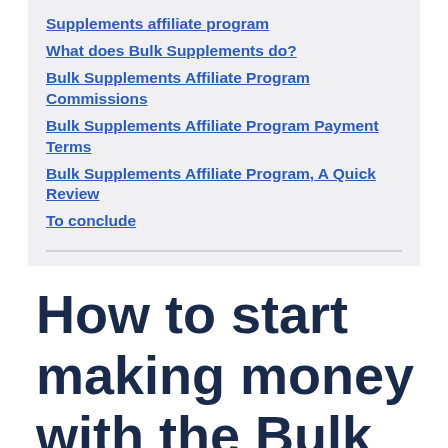Supplements affiliate program
What does Bulk Supplements do?
Bulk Supplements Affiliate Program Commissions
Bulk Supplements Affiliate Program Payment Terms
Bulk Supplements Affiliate Program, A Quick Review
To conclude
How to start making money with the Bulk Supplements affiliate